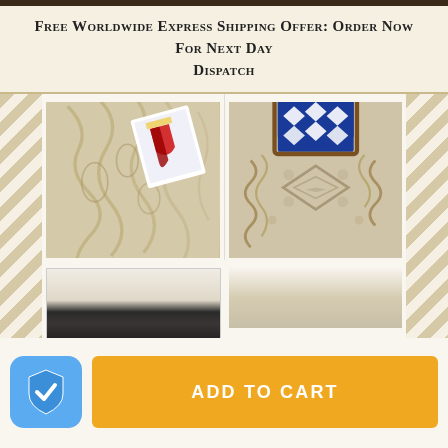Free Worldwide Express Shipping Offer: Order Now For Next Day Dispatch
[Figure (photo): Cronin Clan Scarf - cream/beige cable knit scarf folded with a clan crest card on top]
Cronin Clan Scarf
£33.77
[Figure (photo): Cronin Clan Aran Throw - close-up of cream cable knit throw with blue and white diamond clan crest shield at top]
Cronin Clan Aran Throw
£84.49
[Figure (photo): Partial view of a dark navy/black item at bottom left]
[Figure (photo): Partial view of a cream/beige item at bottom right]
ADD TO CART